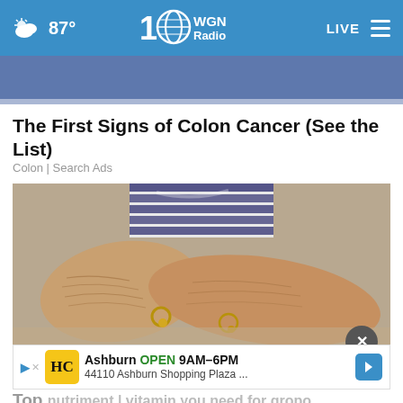87° WGN Radio LIVE
[Figure (photo): Partial top image showing blue shorts fabric, cut off at top]
The First Signs of Colon Cancer (See the List)
Colon | Search Ads
[Figure (photo): Close-up photo of elderly person's forearms resting on knees, wearing striped shirt, with bracelet/chain accessories]
[Figure (infographic): Advertisement banner: HC logo (yellow), Ashburn OPEN 9AM–6PM, 44110 Ashburn Shopping Plaza ...]
Top (partially visible text continues below)